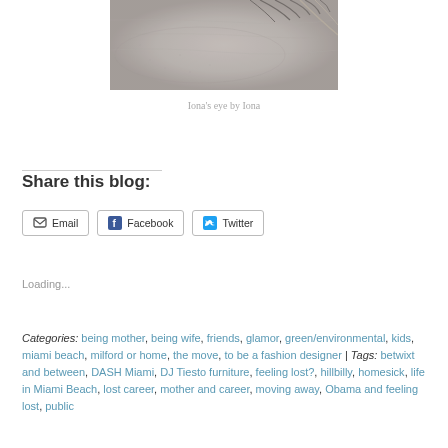[Figure (photo): Close-up photo of a human eye with skin texture visible, in muted grey/beige tones]
Iona's eye by Iona
Share this blog:
Email  Facebook  Twitter
Loading...
Categories: being mother, being wife, friends, glamor, green/environmental, kids, miami beach, milford or home, the move, to be a fashion designer | Tags: betwixt and between, DASH Miami, DJ Tiesto furniture, feeling lost?, hillbilly, homesick, life in Miami Beach, lost career, mother and career, moving away, Obama and feeling lost, public